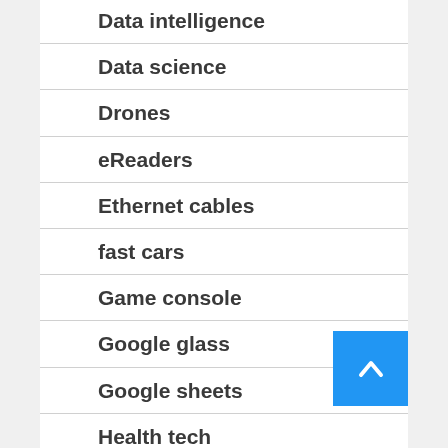Data intelligence
Data science
Drones
eReaders
Ethernet cables
fast cars
Game console
Google glass
Google sheets
Health tech
Home automation
Integrated marketing